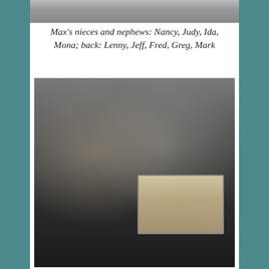[Figure (photo): Top portion of a group photo showing people at an event, cropped at top of page]
Max's nieces and nephews: Nancy, Judy, Ida, Mona; back: Lenny, Jeff, Fred, Greg, Mark
[Figure (photo): Two elderly men posing together; the man on the left wears a tuxedo with blue bow tie and boutonniere, while the man on the right has a gray beard and dark suit; the man on the right holds an old black-and-white photograph showing a group of people seated at a long table]